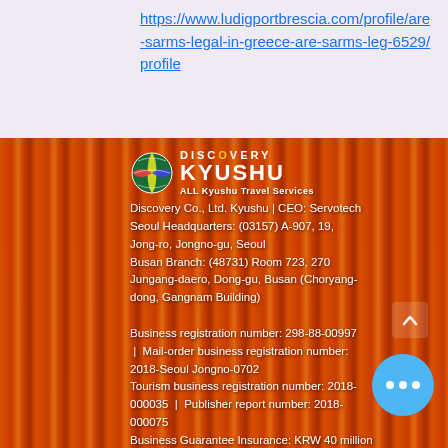https://www.ludigportbrescia.com/profile/are-sarms-legal-in-greece-are-sarms-leg-6529/profile
[Figure (logo): Discovery Kyushu logo with globe icon, text DISCOVERY KYUSHU and tagline ALL Kyushu Travel Services, overlaid on orange torii gate photo]
Discovery Co., Ltd. Kyushu | CEO: Servotech Seoul Headquarters: (03157) A-907, 19, Jong-ro, Jongno-gu, Seoul Busan Branch: (48731) Room 723, 270 Jungang-daero, Dong-gu, Busan (Choryang-dong, Gangnam Building)

Business registration number: 298-88-00997 | Mail-order business registration number: 2018-Seoul Jongno-0702 Tourism business registration number: 2018-000035 | Publisher report number: 2018-000075 Business Guarantee Insurance: KRW 40 million subscription | Check business information Customer Inquiries: 02-730-3939 | Personal information protection manager: Discovery Kyushu Servotech Copyright ⓒ 2018~2021 Discovery Kyushu Co., Ltd. All Rights Reserved